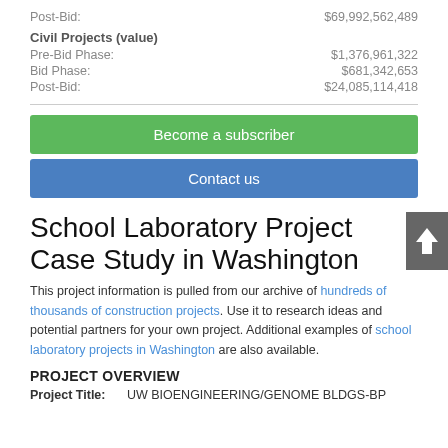Post-Bid: $69,992,562,489
Civil Projects (value)
Pre-Bid Phase: $1,376,961,322
Bid Phase: $681,342,653
Post-Bid: $24,085,114,418
[Figure (other): Green 'Become a subscriber' button]
[Figure (other): Blue 'Contact us' button]
School Laboratory Project Case Study in Washington
This project information is pulled from our archive of hundreds of thousands of construction projects. Use it to research ideas and potential partners for your own project. Additional examples of school laboratory projects in Washington are also available.
PROJECT OVERVIEW
Project Title: UW BIOENGINEERING/GENOME BLDGS-BP